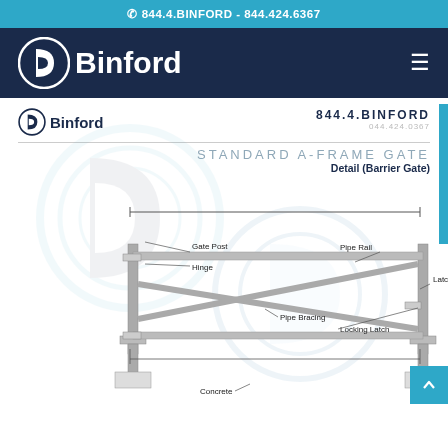844.4.BINFORD - 844.424.6367
[Figure (logo): Binford company logo with circular B icon and 'Binford' text in white on dark navy navigation bar]
[Figure (logo): Binford company logo (smaller) in dark navy for document header, with phone number 844.4.BINFORD / 044.424.0367]
STANDARD A-FRAME GATE
Detail (Barrier Gate)
[Figure (engineering-diagram): Engineering diagram of a Standard A-Frame Gate (Barrier Gate) showing Gate Post, Hinge, Pipe Rail, Pipe Bracing, Locking Latch, Latch Post, and Concrete components with dimension lines.]